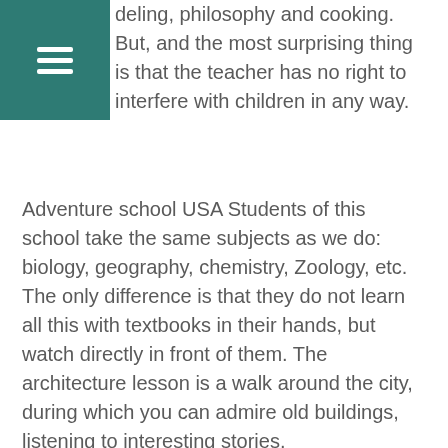deling, philosophy and cooking. But, and the most surprising thing is that the teacher has no right to interfere with children in any way.
Adventure school USA Students of this school take the same subjects as we do: biology, geography, chemistry, Zoology, etc. The only difference is that they do not learn all this with textbooks in their hands, but watch directly in front of them. The architecture lesson is a walk around the city, during which you can admire old buildings, listening to interesting stories.
Natural history is a fascinating river descent by kayak and Hiking in the woods and beach holidays. During the lessons, children model robots, come up with various games and create a rock band. Instead of physical education, they have yoga and Frisbee.